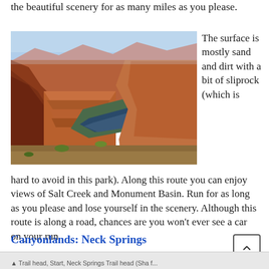the beautiful scenery for as many miles as you please.
[Figure (photo): Aerial view of a red rock canyon with a river winding through it at Canyonlands National Park, showing layered sandstone formations and sparse vegetation.]
The surface is mostly sand and dirt with a bit of sliprock (which is hard to avoid in this park). Along this route you can enjoy views of Salt Creek and Monument Basin. Run for as long as you please and lose yourself in the scenery. Although this route is along a road, chances are you won't ever see a car on your run.
Canyonlands: Neck Springs